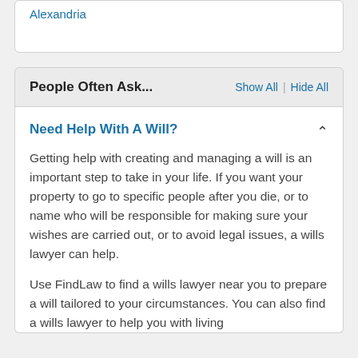Alexandria
People Often Ask...
Show All | Hide All
Need Help With A Will?
Getting help with creating and managing a will is an important step to take in your life. If you want your property to go to specific people after you die, or to name who will be responsible for making sure your wishes are carried out, or to avoid legal issues, a wills lawyer can help.
Use FindLaw to find a wills lawyer near you to prepare a will tailored to your circumstances. You can also find a wills lawyer to help you with living